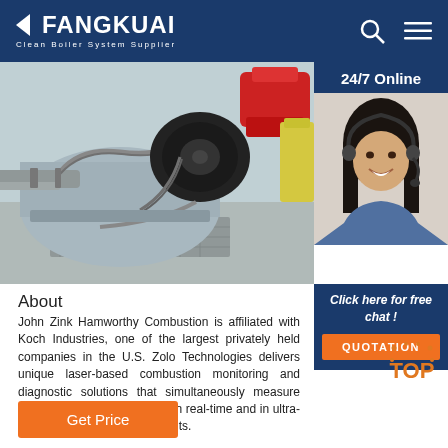FANGKUAI Clean Boiler System Supplier
[Figure (photo): Industrial boiler combustion equipment with pipes, black motor component, red burner visible. Workshop/factory setting with blue/grey tones.]
[Figure (photo): 24/7 Online customer service representative — woman with headset, smiling, wearing blue shirt. Dark blue background sidebar.]
Click here for free chat !
QUOTATION
About
John Zink Hamworthy Combustion is affiliated with Koch Industries, one of the largest privately held companies in the U.S. Zolo Technologies delivers unique laser-based combustion monitoring and diagnostic solutions that simultaneously measure key combustion constituents in real-time and in ultra-harsh combustion environments.
Get Price